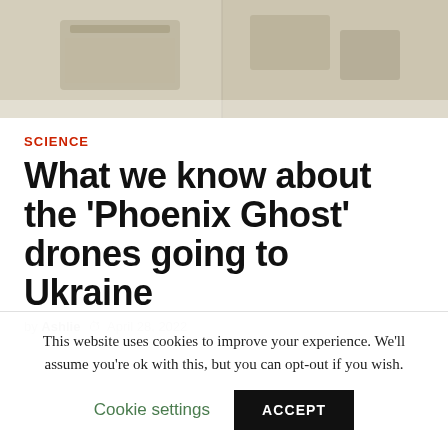[Figure (photo): Photograph of drone equipment, shown in muted/faded tones at top of article]
SCIENCE
What we know about the 'Phoenix Ghost' drones going to Ukraine
by Ashlie  April 28, 2022
This website uses cookies to improve your experience. We'll assume you're ok with this, but you can opt-out if you wish.
Cookie settings  ACCEPT